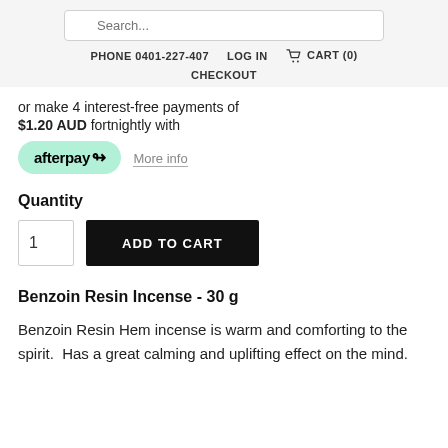Search... PHONE 0401-227-407  LOG IN  CART (0)  CHECKOUT
or make 4 interest-free payments of
$1.20 AUD fortnightly with
[Figure (logo): Afterpay logo badge in mint green with 'afterpay' text and infinity/link symbol]
More info
Quantity
1  ADD TO CART
Benzoin Resin Incense - 30 g
Benzoin Resin Hem incense is warm and comforting to the spirit.  Has a great calming and uplifting effect on the mind.